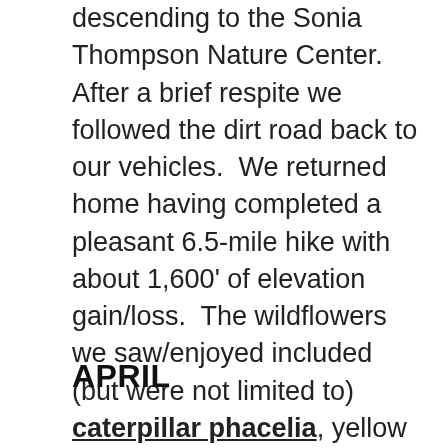descending to the Sonia Thompson Nature Center.  After a brief respite we followed the dirt road back to our vehicles.  We returned home having completed a pleasant 6.5-mile hike with about 1,600' of elevation gain/loss.  The wildflowers we saw/enjoyed included (but were not limited to) caterpillar phacelia, yellow mariposa lily, morning glories, purple sage, lupine, sticky monkey flower, elegant clarkia, deerweed [sic], California poppies, Indian paintbrush, golden yarrow, scarlet bugler, cliff asters, bush mallow, yerba santa, datura (aka Jimson weed), and black mustard.
APRIL